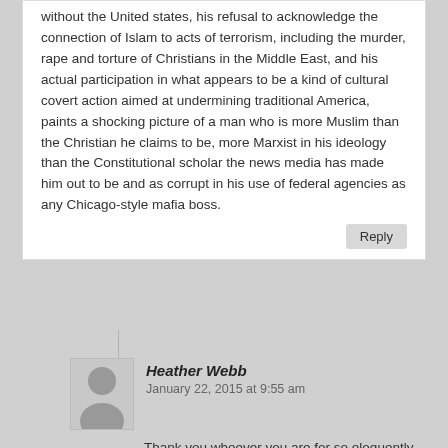without the United states, his refusal to acknowledge the connection of Islam to acts of terrorism, including the murder, rape and torture of Christians in the Middle East, and his actual participation in what appears to be a kind of cultural covert action aimed at undermining traditional America, paints a shocking picture of a man who is more Muslim than the Christian he claims to be, more Marxist in his ideology than the Constitutional scholar the news media has made him out to be and as corrupt in his use of federal agencies as any Chicago-style mafia boss.
Reply
Heather Webb
January 22, 2015 at 9:55 am
Thank you whoever you are for so eloquently saying what most of us feel, but do not have the sharp tongue to express it as well as you did, great job!